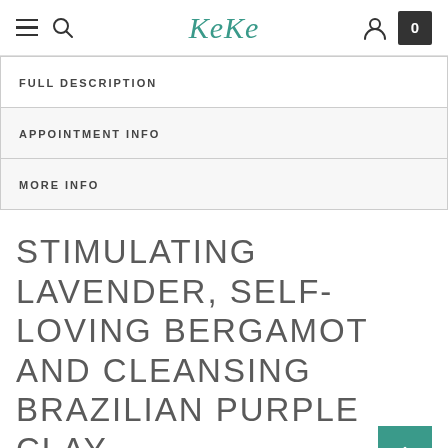KeKe
FULL DESCRIPTION
APPOINTMENT INFO
MORE INFO
STIMULATING LAVENDER, SELF-LOVING BERGAMOT AND CLEANSING BRAZILIAN PURPLE CLAY